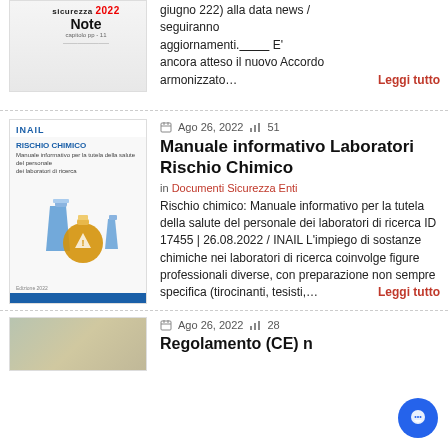[Figure (illustration): Top partial article thumbnail showing 'Sicurezza 2022 Note' publication cover with hamburger menu icon]
giugno 222) alla data news / seguiranno aggiornamenti._________ E' ancora atteso il nuovo Accordo armonizzato… Leggi tutto
[Figure (illustration): INAIL Rischio Chimico manual cover with laboratory flasks illustration]
Ago 26, 2022  51
Manuale informativo Laboratori Rischio Chimico
in Documenti Sicurezza Enti
Rischio chimico: Manuale informativo per la tutela della salute del personale dei laboratori di ricerca ID 17455 | 26.08.2022 / INAIL L'impiego di sostanze chimiche nei laboratori di ricerca coinvolge figure professionali diverse, con preparazione non sempre specifica (tirocinanti, tesisti,… Leggi tutto
[Figure (photo): Bottom partial article thumbnail showing textured surface photo]
Ago 26, 2022  28
Regolamento (CE) n